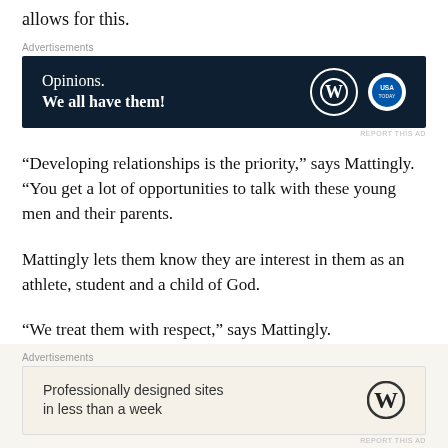allows for this.
[Figure (other): Advertisement banner: dark navy background with text 'Opinions. We all have them!' and WordPress + USA Today logos]
“Developing relationships is the priority,” says Mattingly. “You get a lot of opportunities to talk with these young men and their parents.
Mattingly lets them know they are interest in them as an athlete, student and a child of God.
“We treat them with respect,” says Mattingly.
[Figure (other): Advertisement banner: light cream background with text 'Professionally designed sites in less than a week' and WordPress logo]